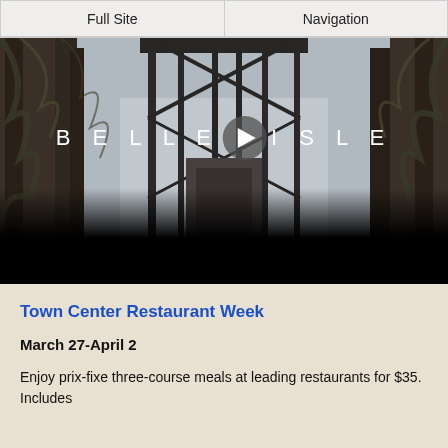Full Site | Navigation
[Figure (screenshot): Video thumbnail of Belle Isle with an iron bridge covered in vines and bare trees, with a play button overlay and 'BELLE ISLE' text]
Town Center Restaurant Week
March 27-April 2
Enjoy prix-fixe three-course meals at leading restaurants for $35. Includes